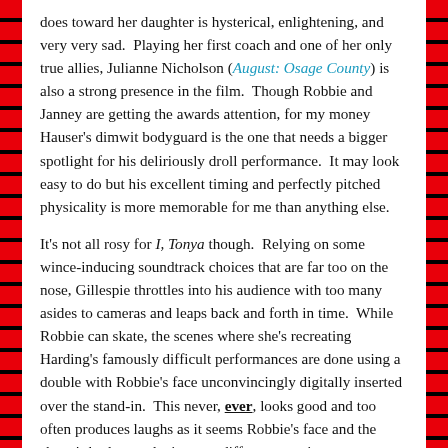does toward her daughter is hysterical, enlightening, and very very sad. Playing her first coach and one of her only true allies, Julianne Nicholson (August: Osage County) is also a strong presence in the film. Though Robbie and Janney are getting the awards attention, for my money Hauser's dimwit bodyguard is the one that needs a bigger spotlight for his deliriously droll performance. It may look easy to do but his excellent timing and perfectly pitched physicality is more memorable for me than anything else.
It's not all rosy for I, Tonya though. Relying on some wince-inducing soundtrack choices that are far too on the nose, Gillespie throttles into his audience with too many asides to cameras and leaps back and forth in time. While Robbie can skate, the scenes where she's recreating Harding's famously difficult performances are done using a double with Robbie's face unconvincingly digitally inserted over the stand-in. This never, ever, looks good and too often produces laughs as it seems Robbie's face and the skater's body are playing two different emotions.